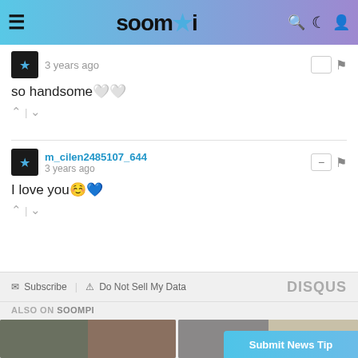soompi
3 years ago
so handsome🤍🤍
m_cilen2485107_644  3 years ago
I love you☺️💙
Subscribe  Do Not Sell My Data  DISQUS
ALSO ON SOOMPI
Submit News Tip